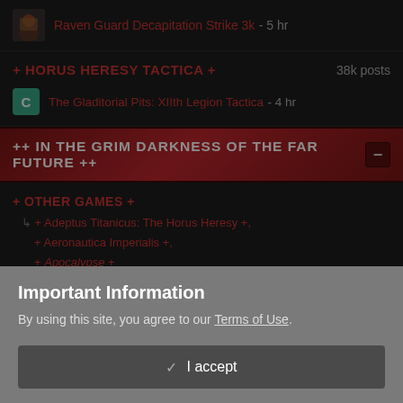Raven Guard Decapitation Strike 3k - 5 hr
+ HORUS HERESY TACTICA +
38k posts
The Gladitorial Pits: XIIth Legion Tactica - 4 hr
++ IN THE GRIM DARKNESS OF THE FAR FUTURE ++
+ OTHER GAMES +
+ Adeptus Titanicus: The Horus Heresy +,
+ Aeronautica Imperialis +,
+ Apocalypse +
Important Information
By using this site, you agree to our Terms of Use.
✓  I accept